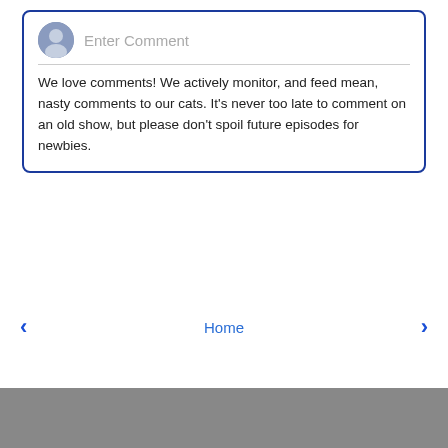Enter Comment
We love comments! We actively monitor, and feed mean, nasty comments to our cats. It’s never too late to comment on an old show, but please don’t spoil future episodes for newbies.
‹  Home  ›
View web version
[Figure (logo): Walking cat silhouette logo in gray, with social media icons (Facebook, Twitter, Tumblr, RSS) below]